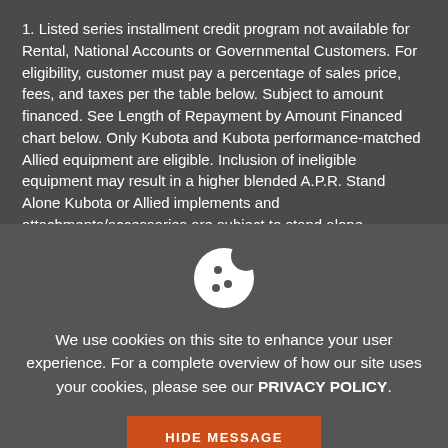1. Listed series installment credit program not available for Rental, National Accounts or Governmental Customers. For eligibility, customer must pay a percentage of sales price, fees, and taxes per the table below. Subject to amount financed. See Length of Repayment by Amount Financed chart below. Only Kubota and Kubota performance-matched Allied equipment are eligible. Inclusion of ineligible equipment may result in a higher blended A.P.R. Stand Alone Kubota or Allied implements and attachments/accessories are subject to stand alone programs
[Figure (illustration): Cookie icon — white circular cookie shape with bite taken out and three dots representing chocolate chips]
We use cookies on this site to enhance your user experience. For a complete overview of how our site uses your cookies, please see our PRIVACY POLICY.
HIDE MESSAGE